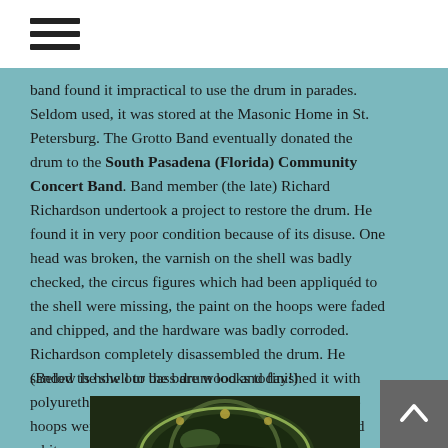band found it impractical to use the drum in parades. Seldom used, it was stored at the Masonic Home in St. Petersburg. The Grotto Band eventually donated the drum to the South Pasadena (Florida) Community Concert Band. Band member (the late) Richard Richardson undertook a project to restore the drum. He found it in very poor condition because of its disuse. One head was broken, the varnish on the shell was badly checked, the circus figures which had been appliquéd to the shell were missing, the paint on the hoops were faded and chipped, and the hardware was badly corroded. Richardson completely disassembled the drum. He sanded the shell to the bare wood and finished it with polyurethane. All the metal parts were reworked. The hoops were sanded and painted to the original red and white enamel. Photo on the right shows the restored drum."
(Below is how our bass drum looks today!)
[Figure (photo): Photograph of a restored bass drum]